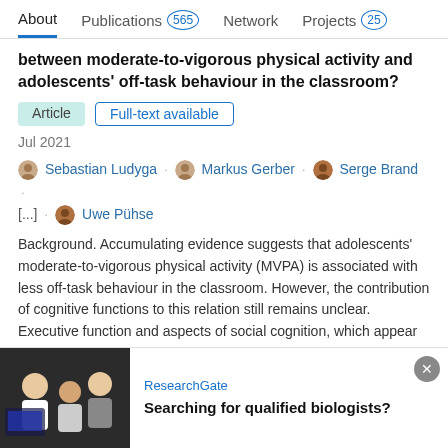About  Publications 565  Network  Projects 25
between moderate-to-vigorous physical activity and adolescents' off-task behaviour in the classroom?
Article  Full-text available
Jul 2021
Sebastian Ludyga · Markus Gerber · Serge Brand · [...] · Uwe Pühse
Background. Accumulating evidence suggests that adolescents' moderate-to-vigorous physical activity (MVPA) is associated with less off-task behaviour in the classroom. However, the contribution of cognitive functions to this relation still remains unclear. Executive function and aspects of social cognition, which appear to be correlated with MVPA,...
Advertisement
ResearchGate
Searching for qualified biologists?